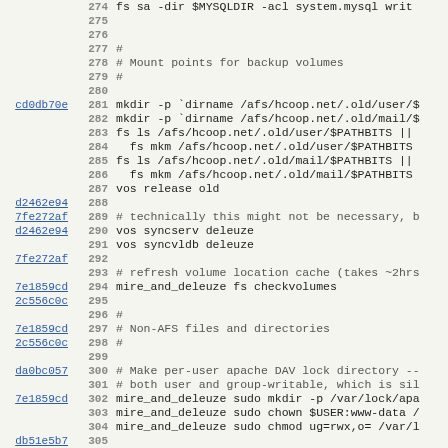Code listing lines 274-306, shell script with AFS volume and file management commands
274: fs sa -dir $MYSQLDIR -acl system.mysql writ
275: (blank)
276: (blank)
277: #
278: # Mount points for backup volumes
279: #
280: (blank)
281 cd0db70e: mkdir -p `dirname /afs/hcoop.net/.old/user/$
282: mkdir -p `dirname /afs/hcoop.net/.old/mail/$
283: fs ls /afs/hcoop.net/.old/user/$PATHBITS ||
284:   fs mkm /afs/hcoop.net/.old/user/$PATHBITS
285: fs ls /afs/hcoop.net/.old/mail/$PATHBITS ||
286:   fs mkm /afs/hcoop.net/.old/mail/$PATHBITS
287: vos release old
288 d2462e94: (blank)
289 7fe272af: # technically this might not be necessary, b
290 d2462e94: vos syncserv deleuze
291: vos syncvldb deleuze
292 7fe272af: (blank)
293: # refresh volume location cache (takes ~2hrs
294 7e1859cd: mire_and_deleuze fs checkvolumes
295 2c556c0c: (blank)
296: #
297 7e1859cd: # Non-AFS files and directories
298 2c556c0c: #
299: (blank)
300 da0bc057: # Make per-user apache DAV lock directory --
301: # both user and group-writable, which is sil
302 7e1859cd: mire_and_deleuze sudo mkdir -p /var/lock/apa
303: mire_and_deleuze sudo chown $USER:www-data /
304: mire_and_deleuze sudo chmod ug=rwx,o= /var/l
305 db51e5b7: (blank)
306: #